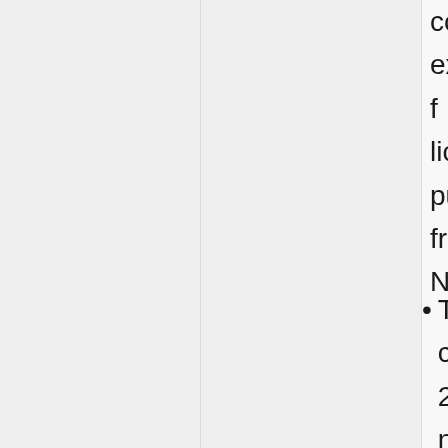comm... exits f... licens... purch... from N...
Tw... co... 20... no... to co... Th... so... for... co... JA... co... us... co... ne...